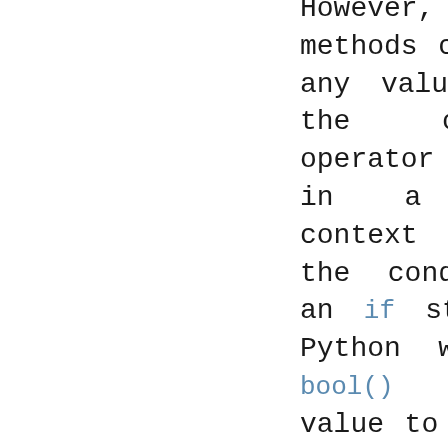However, these methods can return any value, so if the comparison operator is used in a Boolean context (e.g., in the condition of an if statement), Python will call bool() on the value to determine if the result is true or false.
There are no implied relationships...